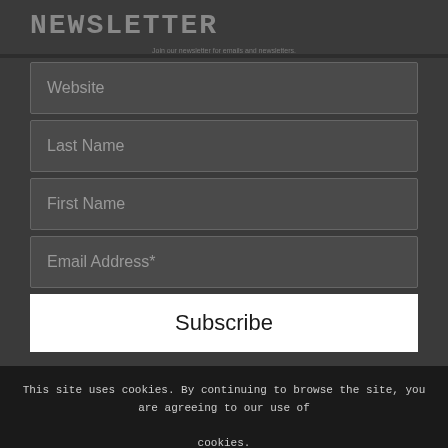NEWSLETTER
[Figure (screenshot): Newsletter subscription form with fields: Website, Last Name, First Name, Email Address*, and a Subscribe button]
This site uses cookies. By continuing to browse the site, you are agreeing to our use of cookies.
[Figure (screenshot): OK button for cookie consent]
© Copyright - Natty Bumperson   Home   Comedy   The Bumperspodcast   Cartoons   eArt   Ants   #booktate